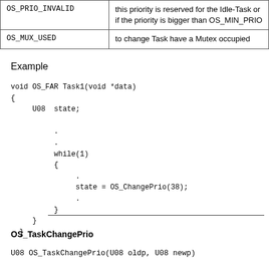|  |  |
| --- | --- |
| OS_PRIO_INVALID | this priority is reserved for the Idle-Task or if the priority is bigger than OS_MIN_PRIO |
| OS_MUX_USED | to change Task have a Mutex occupied |
Example
void OS_FAR Task1(void *data)
{
     U08  state;

          .
          .
          while(1)
          {
               .
               state = OS_ChangePrio(38);
               .
          }
     }
OS_TaskChangePrio
U08 OS_TaskChangePrio(U08 oldp, U08 newp)